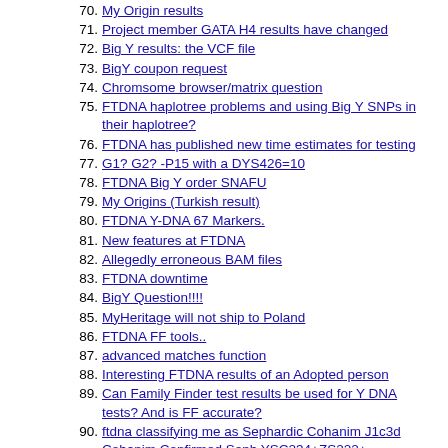70. My Origin results
71. Project member GATA H4 results have changed
72. Big Y results: the VCF file
73. BigY coupon request
74. Chromsome browser/matrix question
75. FTDNA haplotree problems and using Big Y SNPs in their haplotree?
76. FTDNA has published new time estimates for testing
77. G1? G2? -P15 with a DYS426=10
78. FTDNA Big Y order SNAFU
79. My Origins (Turkish result)
80. FTDNA Y-DNA 67 Markers.
81. New features at FTDNA
82. Allegedly erroneous BAM files
83. FTDNA downtime
84. BigY Question!!!!
85. MyHeritage will not ship to Poland
86. FTDNA FF tools..
87. advanced matches function
88. Interesting FTDNA results of an Adopted person
89. Can Family Finder test results be used for Y DNA tests? And is FF accurate?
90. ftdna classifying me as Sephardic Cohanim J1c3d Cohanim Confirmed Seph YSC234+ZS222+,
91. Is Family Finder reliable?
92. 15% discount on all tests $99 or more?
93. What would you do?
94. FTDNA's Biggest Gaffe - Individual SNP Orders
95. Data Sets
96. Upcoming plans for FTDNA's Big Y